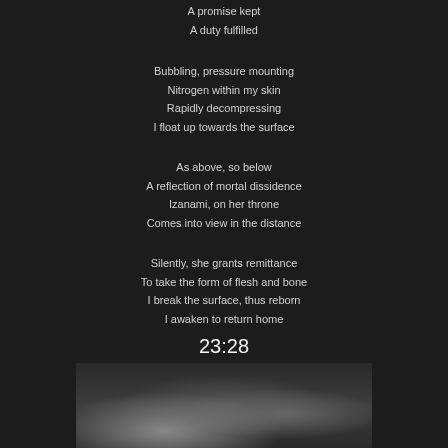A promise kept
A duty fulfilled
Bubbling, pressure mounting
Nitrogen within my skin
Rapidly decompressing
I float up towards the surface
As above, so below
A reflection of mortal dissidence
Izanami, on her throne
Comes into view in the distance
Silently, she grants remittance
To take the form of flesh and bone
I break the surface, thus reborn
I awaken to return home
23:28
[Figure (photo): Dark moody image of clouds or smoke against a dark background]